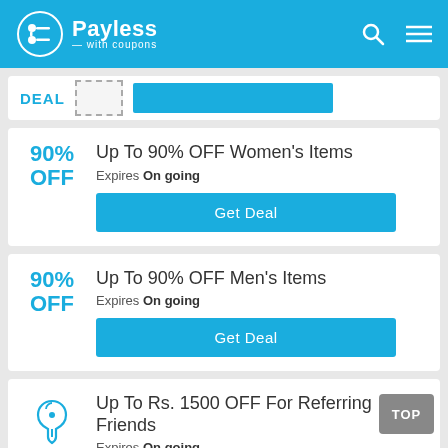Payless with coupons
DEAL — partial card strip
Up To 90% OFF Women's Items
Expires On going
Get Deal
Up To 90% OFF Men's Items
Expires On going
Get Deal
Up To Rs. 1500 OFF For Referring Friends
Expires On going
Get Deal